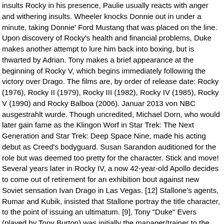insults Rocky in his presence, Paulie usually reacts with anger and withering insults. Wheeler knocks Donnie out in under a minute, taking Donnie' Ford Mustang that was placed on the line. Upon discovery of Rocky's health and financial problems, Duke makes another attempt to lure him back into boxing, but is thwarted by Adrian. Tony makes a brief appearance at the beginning of Rocky V, which begins immediately following the victory over Drago. The films are, by order of release date: Rocky (1976), Rocky II (1979), Rocky III (1982), Rocky IV (1985), Rocky V (1990) and Rocky Balboa (2006). Januar 2013 von NBC ausgestrahlt wurde. Though uncredited, Michael Dorn, who would later gain fame as the Klingon Worf in Star Trek: The Next Generation and Star Trek: Deep Space Nine, made his acting debut as Creed's bodyguard. Susan Sarandon auditioned for the role but was deemed too pretty for the character. Stick and move! Several years later in Rocky IV, a now 42-year-old Apollo decides to come out of retirement for an exhibition bout against new Soviet sensation Ivan Drago in Las Vegas. [12] Stallone's agents, Rumar and Kubik, insisted that Stallone portray the title character, to the point of issuing an ultimatum. [9], Tony "Duke" Evers (played by Tony Burton) was initially the manager/trainer to the world champion Apollo Creed until his in-ring death after his bout with Ivan Drago, before eventually becoming the manager to Apollo's friend Rocky Balboa. The Rocky movie franchise has earned over $1.4 billion at the box office, making it one of the most successful franchises of all time. Series. His reign is unpopular due to a